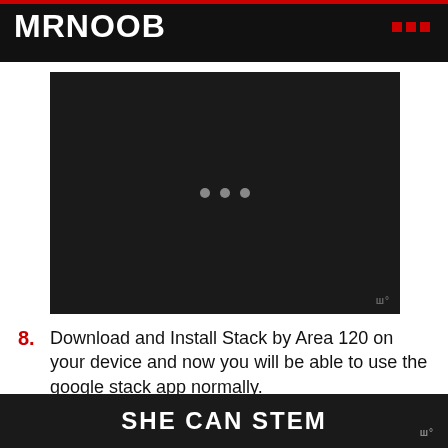MRNOOB
[Figure (screenshot): Dark video player placeholder with three grey dots centered on a near-black background, with a small watermark in the bottom right corner]
8. Download and Install Stack by Area 120 on your device and now you will be able to use the google stack app normally.
SHE CAN STEM